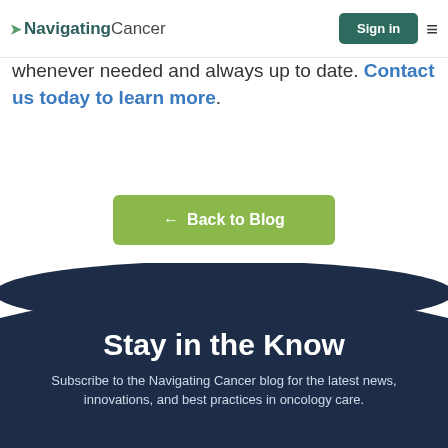NavigatingCancer | Sign in
whenever needed and always up to date. Contact us today to learn more.
[Figure (other): Green 'Back to Blog' button with left arrow]
Stay in the Know
Subscribe to the Navigating Cancer blog for the latest news, innovations, and best practices in oncology care.